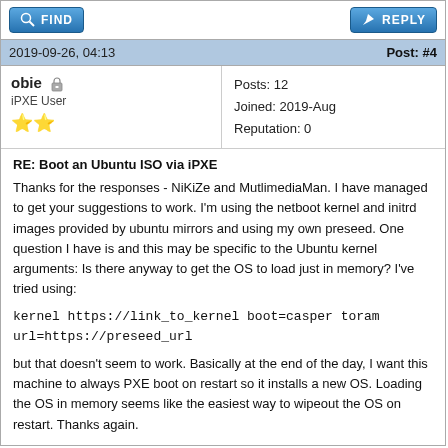FIND  REPLY
2019-09-26, 04:13  Post: #4
obie
iPXE User
Posts: 12
Joined: 2019-Aug
Reputation: 0
RE: Boot an Ubuntu ISO via iPXE
Thanks for the responses - NiKiZe and MutlimediaMan. I have managed to get your suggestions to work. I'm using the netboot kernel and initrd images provided by ubuntu mirrors and using my own preseed. One question I have is and this may be specific to the Ubuntu kernel arguments: Is there anyway to get the OS to load just in memory? I've tried using:

kernel https://link_to_kernel boot=casper toram
url=https://preseed_url

but that doesn't seem to work. Basically at the end of the day, I want this machine to always PXE boot on restart so it installs a new OS. Loading the OS in memory seems like the easiest way to wipeout the OS on restart. Thanks again.
FIND  REPLY